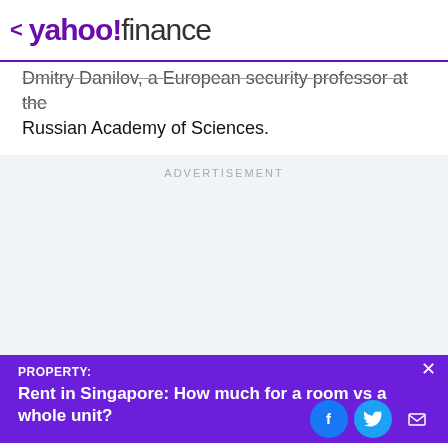< yahoo!finance
Dmitry Danilov, a European security professor at the Russian Academy of Sciences.
[Figure (other): Advertisement placeholder area with light blue-grey background and ADVERTISEMENT label]
PROPERTY: Rent in Singapore: How much for a room vs a whole unit?
[Figure (other): Social sharing icons: Facebook (blue circle), Twitter (cyan circle), Email (purple circle)]